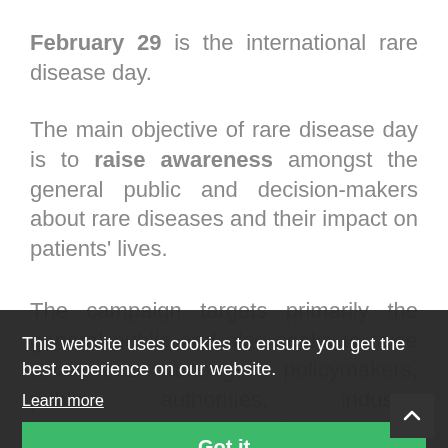February 29 is the international rare disease day.
The main objective of rare disease day is to raise awareness amongst the general public and decision-makers about rare diseases and their impact on patients' lives.
The campaign targets primarily the general public and also seeks to raise awareness amongst policymakers, public authorities, industry representatives, researchers, health professionals and anyone who has a
This website uses cookies to ensure you get the best experience on our website.
Learn more
Got it